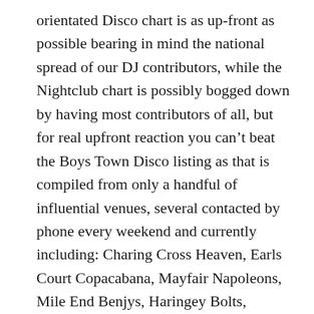orientated Disco chart is as up-front as possible bearing in mind the national spread of our DJ contributors, while the Nightclub chart is possibly bogged down by having most contributors of all, but for real upfront reaction you can't beat the Boys Town Disco listing as that is compiled from only a handful of influential venues, several contacted by phone every weekend and currently including: Charing Cross Heaven, Earls Court Copacabana, Mayfair Napoleons, Mile End Benjys, Haringey Bolts, various Dicks Inns, Manchester Heroes, Liverpool McMillans, Bournemouth Adams . . . Rawle James at Toronto's Rooneys is a Canadian reader of these pages, but apart from expatriate Brits have we any US-based readers?